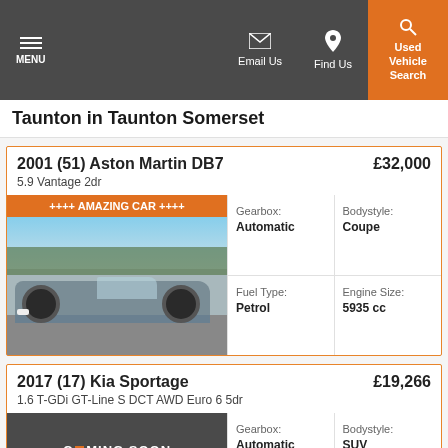MENU | Email Us | Find Us | Used Vehicle Search
Taunton in Taunton Somerset
2001 (51) Aston Martin DB7 | £32,000 | 5.9 Vantage 2dr
[Figure (photo): Orange banner reading '++++ AMAZING CAR ++++' above photo of a silver/grey Aston Martin DB7 parked in a lot]
| Gearbox | Bodystyle | Fuel Type | Engine Size |
| --- | --- | --- | --- |
| Automatic | Coupe | Petrol | 5935 cc |
2017 (17) Kia Sportage | £19,266 | 1.6 T-GDi GT-Line S DCT AWD Euro 6 5dr
[Figure (photo): Coming Soon placeholder image showing a car covered with a black sheet on a dark background]
| Gearbox | Bodystyle | Fuel Type | Engine Size |
| --- | --- | --- | --- |
| Automatic | SUV |  |  |